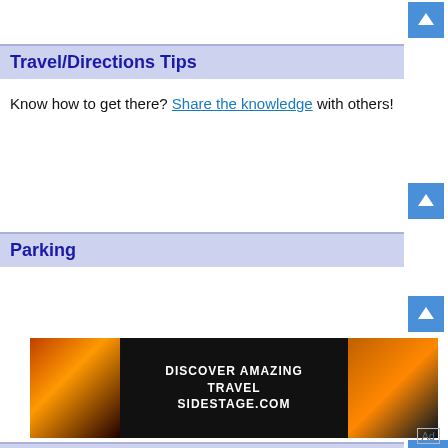[Figure (other): Blue navigation arrow button (up arrow) in top right corner]
Travel/Directions Tips
Know how to get there? Share the knowledge with others!
[Figure (other): Blue navigation arrow button (up arrow)]
Parking
[Figure (other): Blue navigation arrow button (up arrow)]
[Figure (other): Advertisement banner: DISCOVER AMAZING TRAVEL SIDESTAGE.COM with sunset/coastal images on sides]
[Figure (other): Blue navigation arrow button (up/down)]
Wesley United Methodist Church Service Times
[Figure (other): Advertisement: ABRIR button (green), Frávega Como La Familia, with Ad label]
Ad